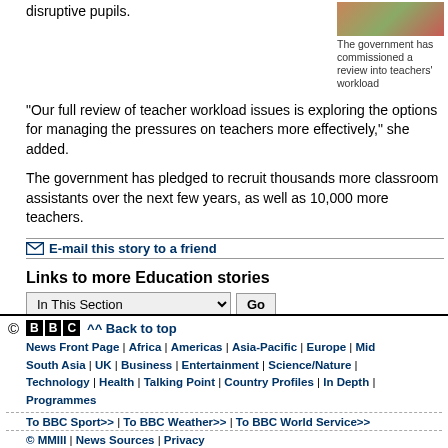disruptive pupils.
[Figure (photo): Photo of classroom/teacher workload scene]
The government has commissioned a review into teachers' workload
"Our full review of teacher workload issues is exploring the options for managing the pressures on teachers more effectively," she added.
The government has pledged to recruit thousands more classroom assistants over the next few years, as well as 10,000 more teachers.
E-mail this story to a friend
Links to more Education stories
In This Section
© BBC | ^^ Back to top | News Front Page | Africa | Americas | Asia-Pacific | Europe | Mid... | South Asia | UK | Business | Entertainment | Science/Nature | Technology | Health | Talking Point | Country Profiles | In Depth | Programmes | To BBC Sport>> | To BBC Weather>> | To BBC World Service>> | © MMIII | News Sources | Privacy